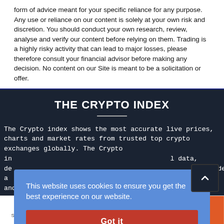form of advice meant for your specific reliance for any purpose. Any use or reliance on our content is solely at your own risk and discretion. You should conduct your own research, review, analyse and verify our content before relying on them. Trading is a highly risky activity that can lead to major losses, please therefore consult your financial advisor before making any decision. No content on our Site is meant to be a solicitation or offer.
THE CRYPTO INDEX
The Crypto index shows the most accurate live prices, charts and market rates from trusted top crypto exchanges globally. The Crypto in[...] data, de[...] rovides a[...] id and au[...] pools. W[...] e your bu[...]
This website uses cookies to ensure you get the best experience on our website.
Got it